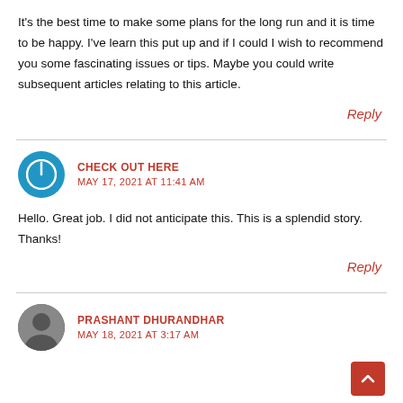It's the best time to make some plans for the long run and it is time to be happy. I've learn this put up and if I could I wish to recommend you some fascinating issues or tips. Maybe you could write subsequent articles relating to this article.
Reply
CHECK OUT HERE
MAY 17, 2021 AT 11:41 AM
Hello. Great job. I did not anticipate this. This is a splendid story. Thanks!
Reply
PRASHANT DHURANDHAR
MAY 18, 2021 AT 3:17 AM